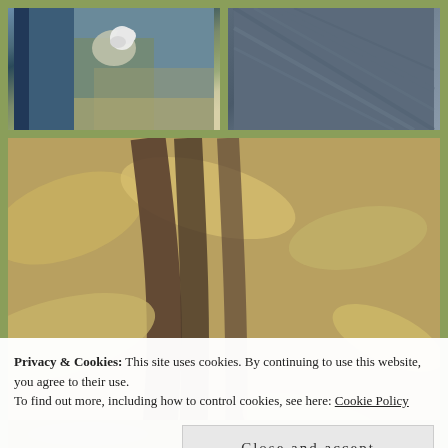[Figure (photo): Close-up photo of moss and lichen growing on rocky or woody surface with small white fluffy growth]
[Figure (photo): Close-up photo of dark weathered wood grain or bark texture]
[Figure (photo): Large close-up photo of dead leaves and tree roots/bark on the ground with green moss visible at the base]
Privacy & Cookies: This site uses cookies. By continuing to use this website, you agree to their use.
To find out more, including how to control cookies, see here: Cookie Policy
Close and accept
[Figure (photo): Partial photo at the bottom showing ground texture]